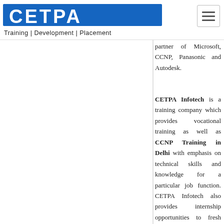[Figure (logo): CETPA logo with text 'Training | Development | Placement' below]
partner of Microsoft, CCNP, Panasonic and Autodesk.
CETPA Infotech is a training company which provides vocational training as well as CCNP Training in Delhi with emphasis on technical skills and knowledge for a particular job function. CETPA Infotech also provides internship opportunities to fresh graduates and those who want to pursue their career in development. CETPA Infotech provides vocational training in CCNP design to help the student's transition from academic learning to professional learning. CETPA Infotech is the best CCNP training center in Delhi which provides training in every domain of engineering. CETPA conduct corporate trainings and open house workshops on CCNP for Engineering students and Professionals. The Curriculum of the CCNP Trainings and Workshops in CETPA is at its place.